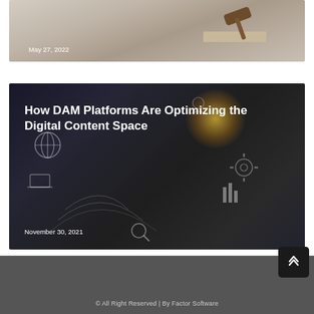[Figure (photo): Partial view of a desk scene with what appears to be a gavel, lightly blurred background, with a date overlay reading May 27, 2022]
May 27, 2022
[Figure (photo): Dark-toned image of a person in a business suit holding a tablet, with digital interface icons (globe, gears, bar chart, search magnifier) overlaid, glowing light effect in background. Title text overlaid: 'How DAM Platforms Are Optimizing the Digital Content Space'. Date overlay: November 30, 2021]
November 30, 2021
© All Right Reserved | By Factor Software